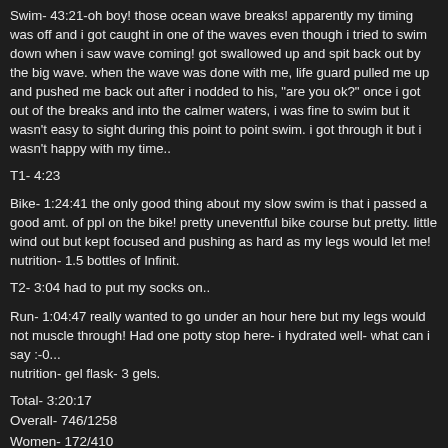Swim- 43:21-oh boy! those ocean wave breaks! apparently my timing was off and i got caught in one of the waves even though i tried to swim down when i saw wave coming! got swallowed up and spit back out by the big wave. when the wave was done with me, life guard pulled me up and pushed me back out after i nodded to his, "are you ok?" once i got out of the breaks and into the calmer waters, i was fine to swim but it wasn't easy to sight during this point to point swim. i got through it but i wasn't happy with my time..
T1- 4:23
Bike- 1:24:41 the only good thing about my slow swim is that i passed a good amt. of ppl on the bike! pretty uneventful bike course but pretty. little wind out but kept focused and pushing as hard as my legs would let me! nutrition- 1.5 bottles of Infinit.
T2- 3:04 had to put my socks on..
Run- 1:04:47 really wanted to go under an hour here but my legs would not muscle through! Had one potty stop here- i hydrated well- what can i say :-0...
nutrition- gel flask- 3 gels.
Total- 3:20:17
Overall- 746/1258
Women- 172/410
AG- 48/110